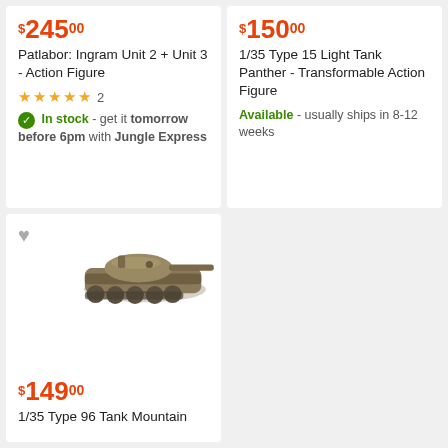$245.00
Patlabor: Ingram Unit 2 + Unit 3 - Action Figure
★★★★★ 2
In stock - get it tomorrow before 6pm with Jungle Express
$150.00
1/35 Type 15 Light Tank Panther - Transformable Action Figure
Available - usually ships in 8-12 weeks
[Figure (photo): Product image of 1/35 Type 96 Tank Mountain figure, showing a tan/olive military tank model]
$149.00
1/35 Type 96 Tank Mountain